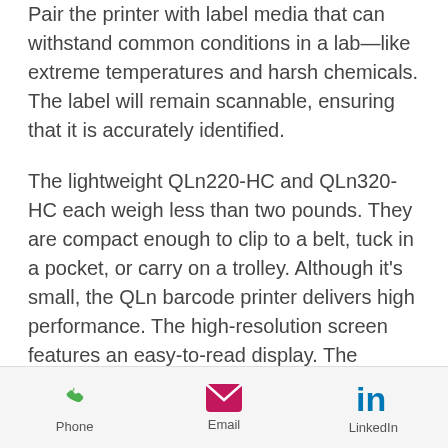Pair the printer with label media that can withstand common conditions in a lab—like extreme temperatures and harsh chemicals. The label will remain scannable, ensuring that it is accurately identified.
The lightweight QLn220-HC and QLn320-HC each weigh less than two pounds. They are compact enough to clip to a belt, tuck in a pocket, or carry on a trolley. Although it's small, the QLn barcode printer delivers high performance. The high-resolution screen features an easy-to-read display. The mobile barcode label printer connects easily to your wireless
Phone | Email | LinkedIn